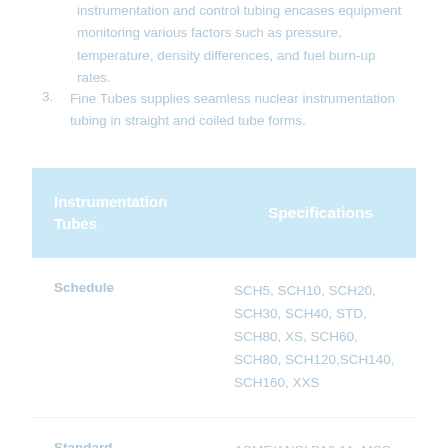Instrumentation and control tubing encases equipment monitoring various factors such as pressure, temperature, density differences, and fuel burn-up rates.
Fine Tubes supplies seamless nuclear instrumentation tubing in straight and coiled tube forms.
| Instrumentation Tubes | Specifications |
| --- | --- |
| Schedule | SCH5, SCH10, SCH20, SCH30, SCH40, STD, SCH80, XS, SCH60, SCH80, SCH120,SCH140, SCH160, XXS |
| Standard | ASME/ANSI B16.11, MSS-SP-97, MSS-SP-79, JIS B2316, BS 3799 |